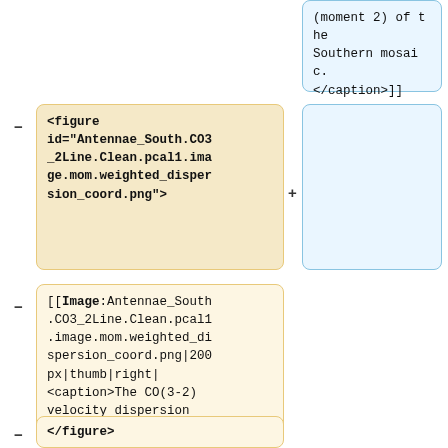(moment 2) of the Southern mosaic. </caption>]]
<figure id="Antennae_South.CO3_2Line.Clean.pcal1.image.mom.weighted_dispersion_coord.png">
[[Image:Antennae_South.CO3_2Line.Clean.pcal1.image.mom.weighted_dispersion_coord.png|200px|thumb|right|<caption>The CO(3-2) velocity dispersion (moment 2) of the Southern mosaic.</caption>]]
</figure>